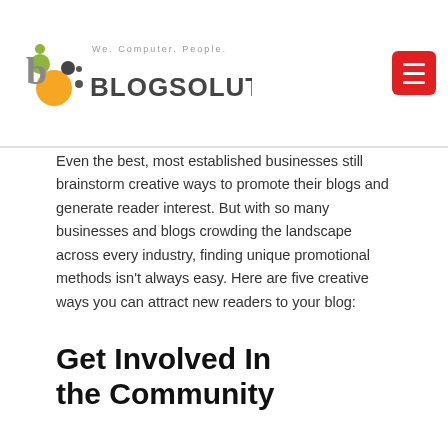[Figure (logo): Blogsolute logo with colorful icon and text 'BLOGSOLUTE' with tagline 'We. Computer. People.']
Even the best, most established businesses still brainstorm creative ways to promote their blogs and generate reader interest. But with so many businesses and blogs crowding the landscape across every industry, finding unique promotional methods isn't always easy. Here are five creative ways you can attract new readers to your blog:
Get Involved In the Community